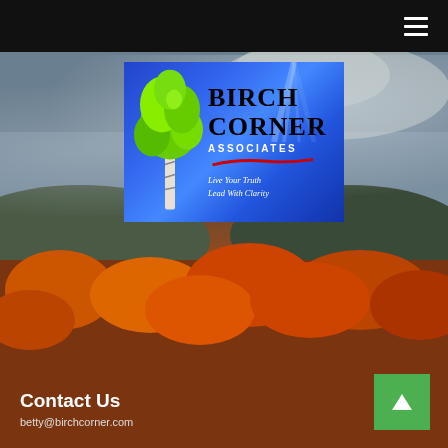[Figure (screenshot): Dark navigation bar with hamburger menu icon (three white horizontal lines) on the right side, black background]
[Figure (logo): Birch Corner Associates logo on blue gradient background. Features a birch tree illustration on the left, bold serif text reading BIRCH CORNER in black, ASSOCIATES in white spaced caps, a red swoosh underline, and italic white tagline: Live Your Truth / Lead With Clarity. Background has light ray effects.]
[Figure (photo): Autumn landscape background photo showing rolling hills with orange/red fall foliage under a dramatic cloudy sky with light breaking through clouds]
Contact Us
betty@birchcorner.com